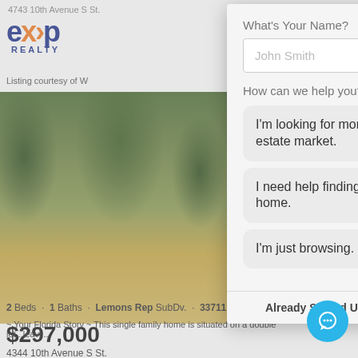4743 10th Avenue S St.
[Figure (logo): eXp Realty logo with blue text and orange caret symbol]
Listing courtesy of W
[Figure (photo): Property photo showing a tree-lined dirt driveway with lush green vegetation]
What's Your Name?
John Smith
How can we help you?
I'm looking for more info on the real estate market.
I need help finding a specific type of home.
I'm just browsing.
Already Signed Up? Click here to login.
$297,000
2 Beds · 1 Baths · Lemons Rep SubDv. · 33711 Zip
~ Your Florida Story ~ This single family home is situated on a double lot...leavi...
4344 10th Avenue S St.